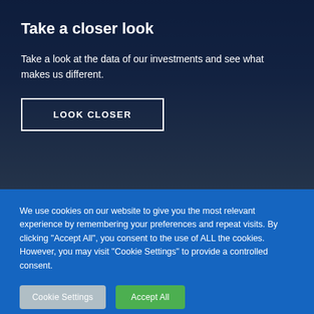Take a closer look
Take a look at the data of our investments and see what makes us different.
LOOK CLOSER
We use cookies on our website to give you the most relevant experience by remembering your preferences and repeat visits. By clicking "Accept All", you consent to the use of ALL the cookies. However, you may visit "Cookie Settings" to provide a controlled consent.
Cookie Settings
Accept All